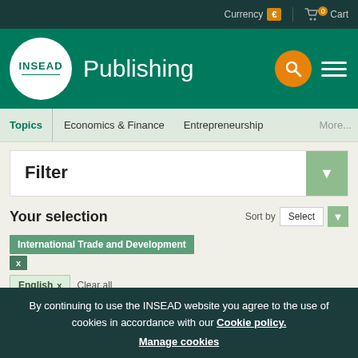Currency € | 0 Cart
[Figure (logo): INSEAD Publishing logo with search and menu icons on green header background]
Topics | Economics & Finance | Entrepreneurship | More...
Filter
Your selection
Sort by Select
International Trade and Development x
English x   Clear all
By continuing to use the INSEAD website you agree to the use of cookies in accordance with our Cookie policy. Manage cookies